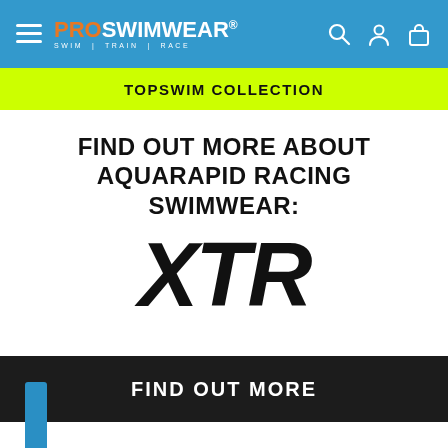[Figure (logo): ProSwimwear navigation header with hamburger menu, logo (PRO in orange, SWIMWEAR in white, registered trademark, tagline SWIM TRAIN RACE), and icons for search, account, and cart on a blue background]
TOPSWIM COLLECTION
FIND OUT MORE ABOUT AQUARAPID RACING SWIMWEAR:
[Figure (logo): XTR logo in large bold italic black text]
FIND OUT MORE